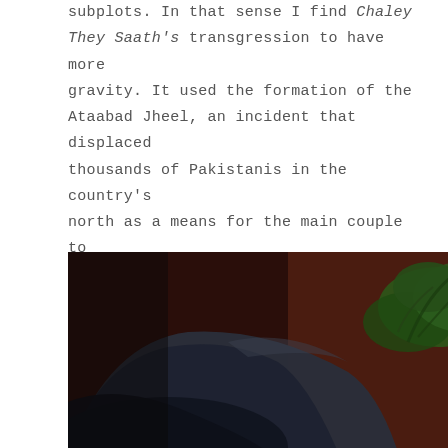subplots. In that sense I find Chaley They Saath's transgression to have more gravity. It used the formation of the Ataabad Jheel, an incident that displaced thousands of Pakistanis in the country's north as a means for the main couple to unite.
Kind of like how Ross ran to the airport to stop Rachel.
[Figure (photo): A dark, moody photograph showing a person's shoulder/back in the foreground (dark clothing, possibly a jacket), with a blurred background featuring what appears to be a decorative green plant or floral element against a dark reddish-brown wall or door.]